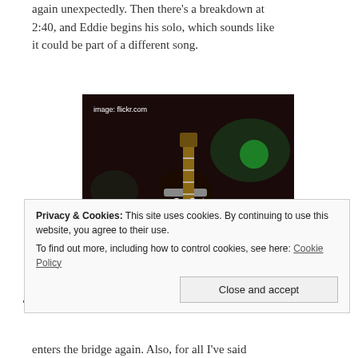again unexpectedly. Then there's a breakdown at 2:40, and Eddie begins his solo, which sounds like it could be part of a different song.
[Figure (photo): A guitarist (Eddie Van Halen) shirtless, playing a striped guitar on stage, mouth open, concert setting. Image credit: flickr.com]
Privacy & Cookies: This site uses cookies. By continuing to use this website, you agree to their use.
To find out more, including how to control cookies, see here: Cookie Policy
enters the bridge again. Also, for all I've said